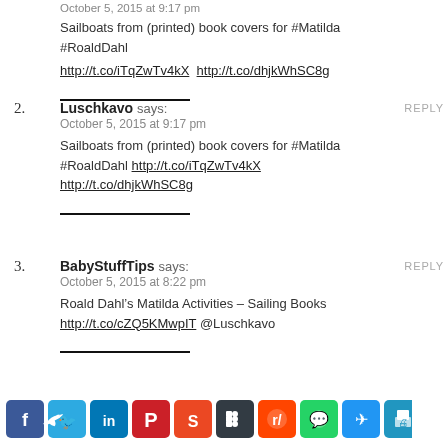October 5, 2015 at 9:17 pm
Sailboats from (printed) book covers for #Matilda #RoaldDahl http://t.co/iTqZwTv4kX http://t.co/dhjkWhSC8g
2. Luschkavo says: October 5, 2015 at 9:17 pm Sailboats from (printed) book covers for #Matilda #RoaldDahl http://t.co/iTqZwTv4kX http://t.co/dhjkWhSC8g
3. BabyStuffTips says: October 5, 2015 at 8:22 pm Roald Dahl’s Matilda Activities – Sailing Books http://t.co/cZQ5KMwpIT @Luschkavo
[Figure (infographic): Social media sharing icon bar with icons for Facebook, Twitter, LinkedIn, Pinterest, StumbleUpon, Buffer, Reddit, WhatsApp, Telegram, and Print]